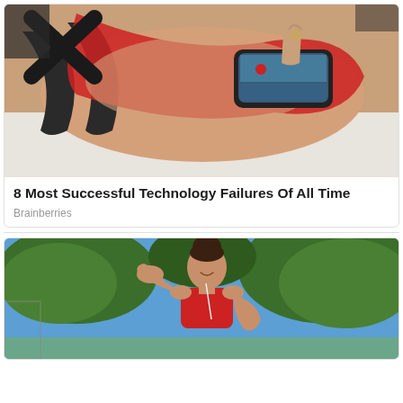[Figure (photo): A person's forearm with black and red decorative tattoo-like graphics, with a finger touching a small screen or device embedded on the forearm. The arm rests on a white surface.]
8 Most Successful Technology Failures Of All Time
Brainberries
[Figure (photo): A young woman in a red sports bra flexing her arm muscle outdoors, smiling, with trees and blue sky in the background.]